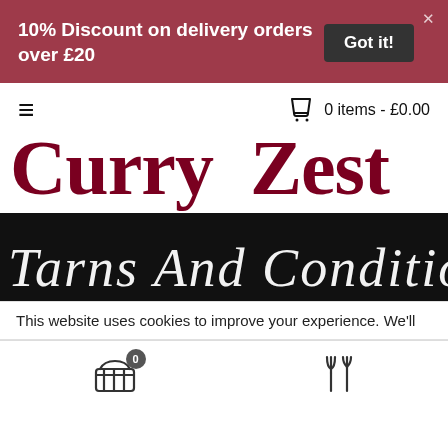10% Discount on delivery orders over £20
Got it!
0 items - £0.00
Curry  Zest
[Figure (screenshot): Black hero strip with decorative italic script text partially visible]
This website uses cookies to improve your experience. We'll
[Figure (infographic): Bottom toolbar with basket icon (badge showing 0) and fork-and-knife icon]